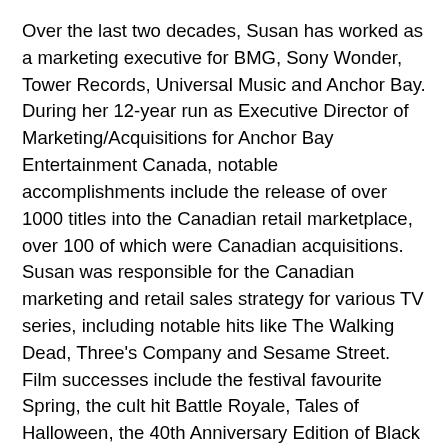Over the last two decades, Susan has worked as a marketing executive for BMG, Sony Wonder, Tower Records, Universal Music and Anchor Bay. During her 12-year run as Executive Director of Marketing/Acquisitions for Anchor Bay Entertainment Canada, notable accomplishments include the release of over 1000 titles into the Canadian retail marketplace, over 100 of which were Canadian acquisitions. Susan was responsible for the Canadian marketing and retail sales strategy for various TV series, including notable hits like The Walking Dead, Three's Company and Sesame Street. Film successes include the festival favourite Spring, the cult hit Battle Royale, Tales of Halloween, the 40th Anniversary Edition of Black Christmas and the Halloween complete Box Set. Her innovative marketing and advertising strategies built Anchor Bay's company profile, and consistently delivered results that exceeded expectations.
In her latest position of VP of Marketing and Acquisitions at A71 and V71 Susan continues to be a champion of new